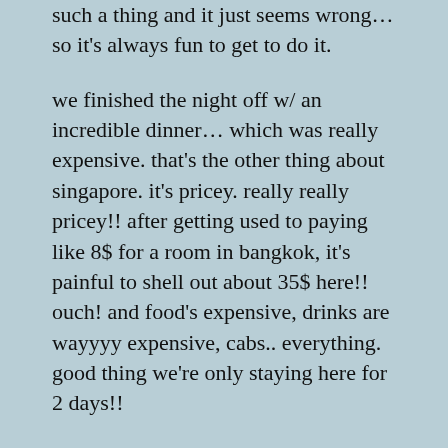such a thing and it just seems wrong… so it's always fun to get to do it.
we finished the night off w/ an incredible dinner… which was really expensive. that's the other thing about singapore. it's pricey. really really pricey!! after getting used to paying like 8$ for a room in bangkok, it's painful to shell out about 35$ here!! ouch! and food's expensive, drinks are wayyyy expensive, cabs.. everything. good thing we're only staying here for 2 days!!
oh, here's a picture of a little guy we saw when we were eating lunch. luckily he wasn't on the menu!!